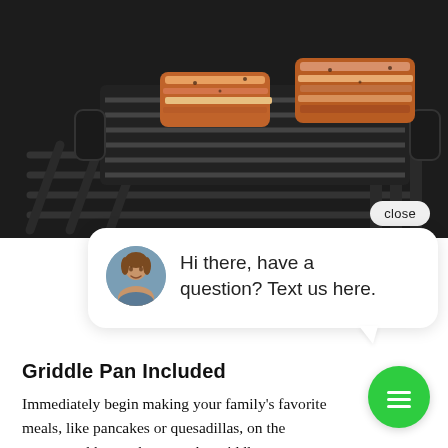[Figure (photo): A cast iron griddle pan with pieces of grilled meat/ribs sitting on top, placed on a black gas stove with visible burner grates and a blue flame visible underneath. Dark background.]
Hi there, have a question? Text us here.
Griddle Pan Included
Immediately begin making your family's favorite meals, like pancakes or quesadillas, on the center oval burner because the griddle pan